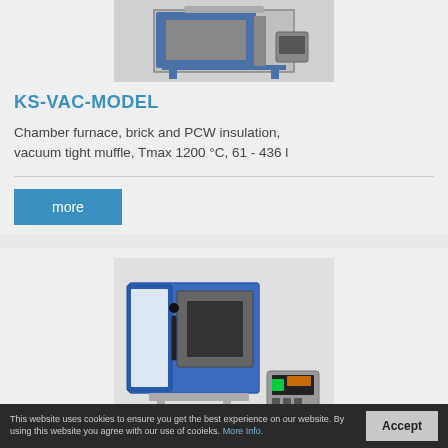[Figure (photo): Industrial chamber furnace with vacuum capability, shown from front/side angle on a stand]
KS-VAC-MODEL
Chamber furnace, brick and PCW insulation, vacuum tight muffle, Tmax 1200 °C, 61 - 436 l
[Figure (photo): Blue and white laboratory chamber furnace with open door showing inner chamber, accompanied by a small external controller unit]
This website uses cookies to ensure you get the best experience on our website. By using this website you agree with our use of cooieks. More Info.